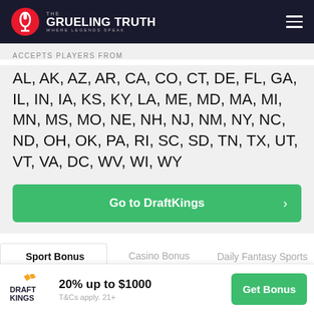[Figure (logo): The Grueling Truth logo with microphone icon and tagline 'Where Legends Speak' on dark background header]
ACCEPTS PLAYERS FROM
AL, AK, AZ, AR, CA, CO, CT, DE, FL, GA, IL, IN, IA, KS, KY, LA, ME, MD, MA, MI, MN, MS, MO, NE, NH, NJ, NM, NY, NC, ND, OH, OK, PA, RI, SC, SD, TN, TX, UT, VT, VA, DC, WV, WI, WY
Go to DraftKings
Sport Bonus
Casino Bonus
Daily Fantasy Sports Bonus
Bonus: 20% up to $1000
20% up to $1000
T&Cs apply. 21+
Get Bonus